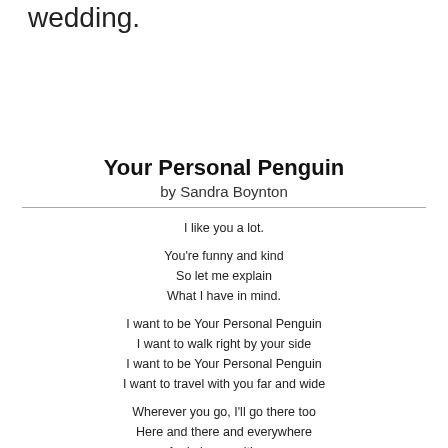wedding.
Your Personal Penguin by Sandra Boynton
I like you a lot.

You're funny and kind
So let me explain
What I have in mind.

I want to be Your Personal Penguin
I want to walk right by your side
I want to be Your Personal Penguin
I want to travel with you far and wide

Wherever you go, I'll go there too
Here and there and everywhere
And always with you
I want to be Your Personal Penguin
From now on.

Now lots of other penguins seem to do fine
In a universe of nothing but ice
But if I could be yours and you could be mine
A cosy little world would be twice as nice